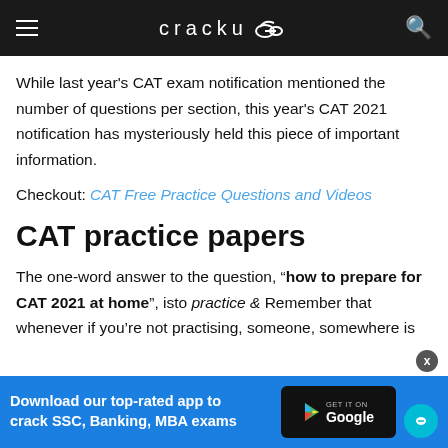cracku
While last year's CAT exam notification mentioned the number of questions per section, this year's CAT 2021 notification has mysteriously held this piece of important information.
Checkout: CAT Free Practice Questions and Videos
CAT practice papers
The one-word answer to the question, “how to prepare for CAT 2021 at home”, isto practice & Remember that whenever if you’re not practising, someone, somewhere is
Download our top-rated app to crack SSC, Banking, MBA exams